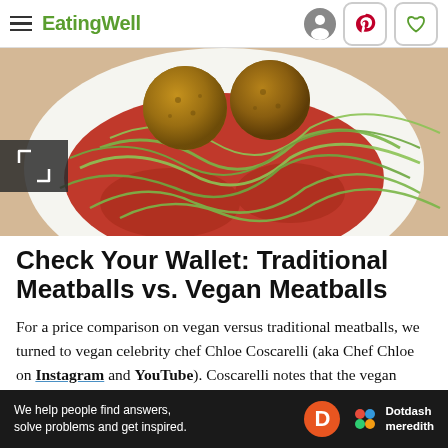EatingWell
[Figure (photo): Overhead view of vegan meatballs on a white plate with zucchini noodles and red tomato sauce]
Check Your Wallet: Traditional Meatballs vs. Vegan Meatballs
For a price comparison on vegan versus traditional meatballs, we turned to vegan celebrity chef Chloe Coscarelli (aka Chef Chloe on Instagram and YouTube). Coscarelli notes that the vegan version costs
[Figure (infographic): Dotdash Meredith advertisement banner: We help people find answers, solve problems and get inspired.]